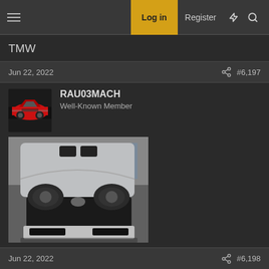TMW — Log in | Register
TMW
Jun 22, 2022  #6,197
RAU03MACH
Well-Known Member
[Figure (photo): Front view of a silver Ford Mustang SN95 with hood scoops and Mach 1 body kit]
Idlehands78, joe65, dwcopple and 2 others
Jun 22, 2022  #6,198